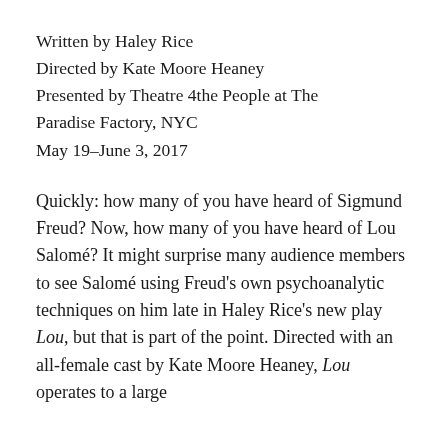Written by Haley Rice
Directed by Kate Moore Heaney
Presented by Theatre 4the People at The Paradise Factory, NYC
May 19–June 3, 2017
Quickly: how many of you have heard of Sigmund Freud? Now, how many of you have heard of Lou Salomé? It might surprise many audience members to see Salomé using Freud's own psychoanalytic techniques on him late in Haley Rice's new play Lou, but that is part of the point. Directed with an all-female cast by Kate Moore Heaney, Lou operates to a large